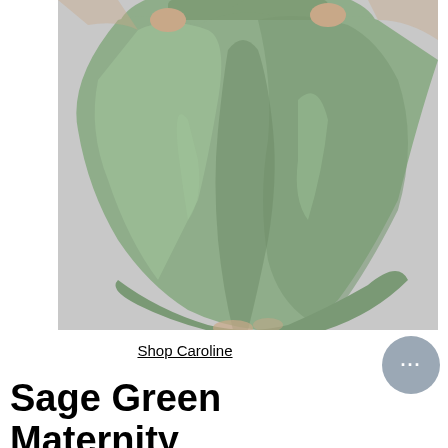[Figure (photo): Close-up photo of a woman wearing a flowing sage green maternity maxi dress, showing the skirt from waist down against a light gray background. The fabric is lightweight and flowing.]
Shop Caroline
Sage Green Maternity